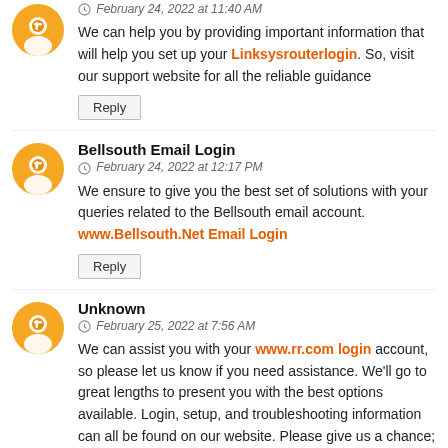February 24, 2022 at 11:40 AM
We can help you by providing important information that will help you set up your Linksysrouterlogin. So, visit our support website for all the reliable guidance
Reply
Bellsouth Email Login
February 24, 2022 at 12:17 PM
We ensure to give you the best set of solutions with your queries related to the Bellsouth email account. www.Bellsouth.Net Email Login
Reply
Unknown
February 25, 2022 at 7:56 AM
We can assist you with your www.rr.com login account, so please let us know if you need assistance. We'll go to great lengths to present you with the best options available. Login, setup, and troubleshooting information can all be found on our website. Please give us a chance; we guarantee you will not be disappointed.